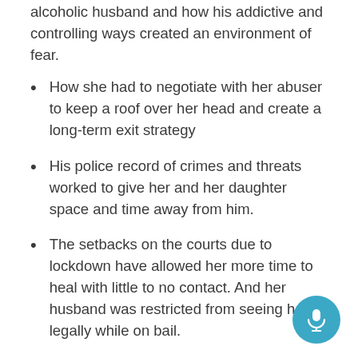alcoholic husband and how his addictive and controlling ways created an environment of fear.
How she had to negotiate with her abuser to keep a roof over her head and create a long-term exit strategy
His police record of crimes and threats worked to give her and her daughter space and time away from him.
The setbacks on the courts due to lockdown have allowed her more time to heal with little to no contact. And her husband was restricted from seeing her legally while on bail.
How the lockdown amplified and exposed